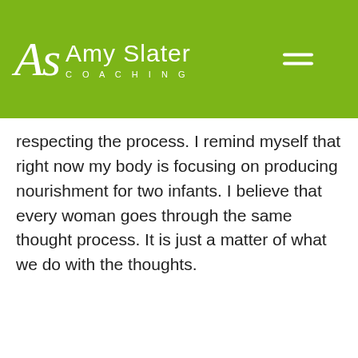Amy Slater Coaching
respecting the process. I remind myself that right now my body is focusing on producing nourishment for two infants. I believe that every woman goes through the same thought process. It is just a matter of what we do with the thoughts.
[Figure (photo): Photo of a young child with brown hair sitting on a red couch in a room with a white door and bookshelf]